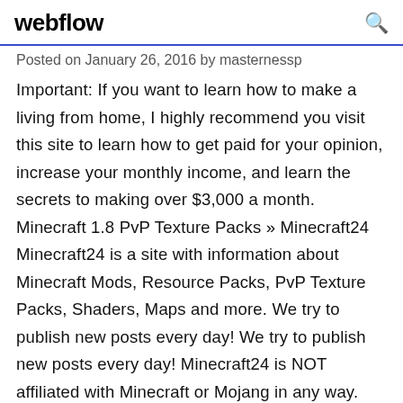webflow
Posted on January 26, 2016 by masternessp
Important: If you want to learn how to make a living from home, I highly recommend you visit this site to learn how to get paid for your opinion, increase your monthly income, and learn the secrets to making over $3,000 a month. Minecraft 1.8 PvP Texture Packs » Minecraft24 Minecraft24 is a site with information about Minecraft Mods, Resource Packs, PvP Texture Packs, Shaders, Maps and more. We try to publish new posts every day! We try to publish new posts every day! Minecraft24 is NOT affiliated with Minecraft or Mojang in any way. Minecraft PvP Resource Packs - Minecraft PvP Texture Packs Minecraft